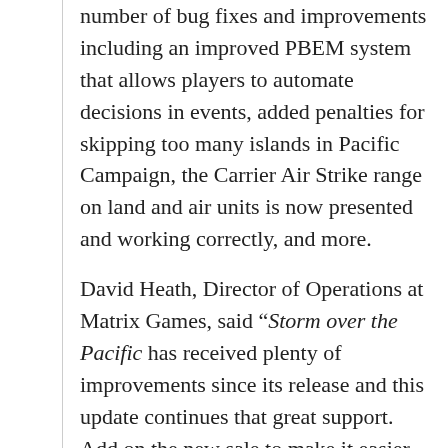number of bug fixes and improvements including an improved PBEM system that allows players to automate decisions in events, added penalties for skipping too many islands in Pacific Campaign, the Carrier Air Strike range on land and air units is now presented and working correctly, and more.
David Heath, Director of Operations at Matrix Games, said “Storm over the Pacific has received plenty of improvements since its release and this update continues that great support. Add on the new sale to make it easier to jump on board and this is a great time to take a look at Storm over the Pacific!”
{default}
Storm over the Pacific depicts the epic conflict between Japan and the United States during World War II.  Players choose from 26